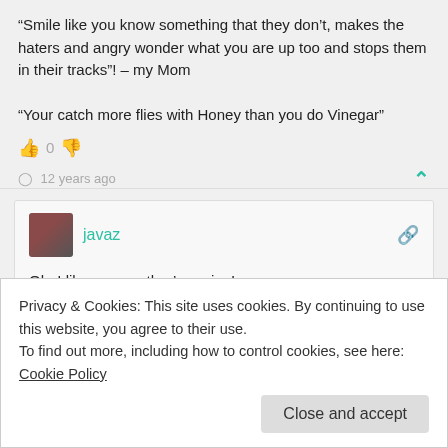“Smile like you know something that they don’t, makes the haters and angry wonder what you are up too and stops them in their tracks”! – my Mom

“Your catch more flies with Honey than you do Vinegar”
0
12 years ago
javaz
Oh, I like your mother’s saying!
Very wise.
Privacy & Cookies: This site uses cookies. By continuing to use this website, you agree to their use.
To find out more, including how to control cookies, see here: Cookie Policy
Close and accept